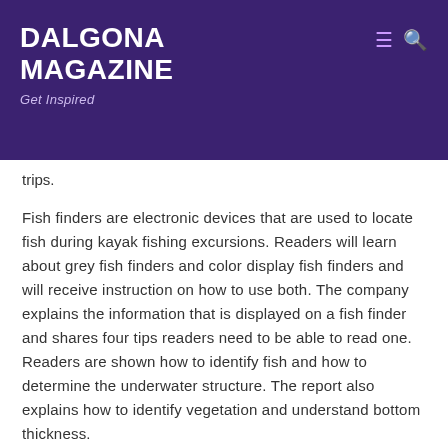DALGONA MAGAZINE
Get Inspired
trips.
Fish finders are electronic devices that are used to locate fish during kayak fishing excursions. Readers will learn about grey fish finders and color display fish finders and will receive instruction on how to use both. The company explains the information that is displayed on a fish finder and shares four tips readers need to be able to read one. Readers are shown how to identify fish and how to determine the underwater structure. The report also explains how to identify vegetation and understand bottom thickness.
The newly released report adds to the website's collection of EDC and outdoor blog content. The company provides a wide range of survival guides, product